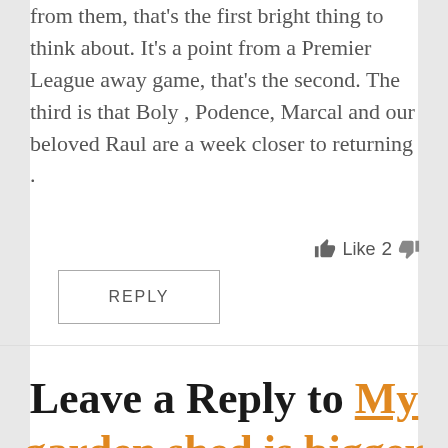from them, that's the first bright thing to think about. It's a point from a Premier League away game, that's the second. The third is that Boly , Podence, Marcal and our beloved Raul are a week closer to returning .
Like 2
REPLY
Leave a Reply to My garden shed is bigger than Gatusso
Cancel reply